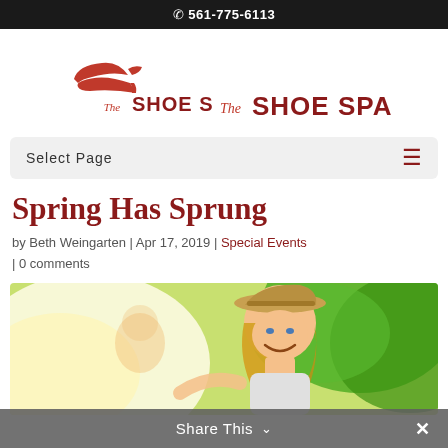561-775-6113
[Figure (logo): The Shoe Spa logo with a red high-heel shoe silhouette above the text 'The SHOE SPA' in red serif font]
Select Page
Spring Has Sprung
by Beth Weingarten | Apr 17, 2019 | Special Events | 0 comments
[Figure (photo): A smiling young woman with long blonde hair wearing a straw hat outdoors in bright sunlight with green foliage in background]
Share This ∨